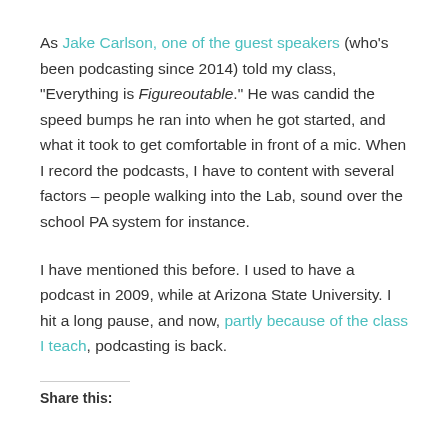As Jake Carlson, one of the guest speakers (who's been podcasting since 2014) told my class, "Everything is Figureoutable." He was candid the speed bumps he ran into when he got started, and what it took to get comfortable in front of a mic. When I record the podcasts, I have to content with several factors – people walking into the Lab, sound over the school PA system for instance.
I have mentioned this before. I used to have a podcast in 2009, while at Arizona State University. I hit a long pause, and now, partly because of the class I teach, podcasting is back.
Share this: